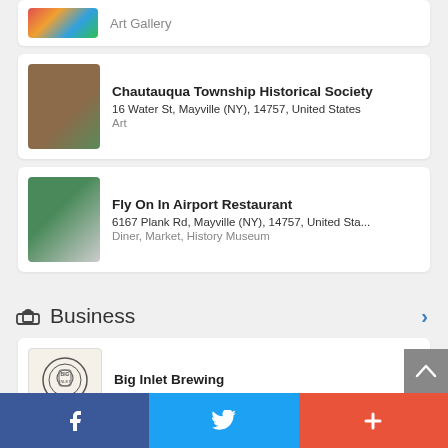Art Gallery
Chautauqua Township Historical Society
16 Water St, Mayville (NY), 14757, United States
Art
Fly On In Airport Restaurant
6167 Plank Rd, Mayville (NY), 14757, United Sta...
Diner, Market, History Museum
Business
Big Inlet Brewing
6169 Elm Flats Road, Mayville (NY), 14757, Unit...
Brewery, Agriculture Company